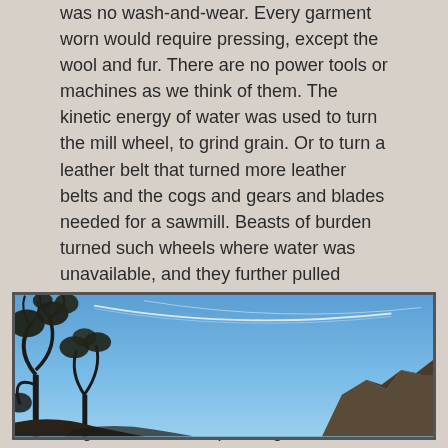was no wash-and-wear. Every garment worn would require pressing, except the wool and fur. There are no power tools or machines as we think of them. The kinetic energy of water was used to turn the mill wheel, to grind grain. Or to turn a leather belt that turned more leather belts and the cogs and gears and blades needed for a sawmill. Beasts of burden turned such wheels where water was unavailable, and they further pulled plows to till the land, and the wagon to go to town or church. Life In Engleville takes its name from this tiny hamlet, named for Engle, who built Engleville Pond a half mile from here, to power Engle's Mills. Perhaps living in the shadow of the mill pond and the namesake endears those olden days to me.
[Figure (photo): Outdoor photograph showing a blue sky with a faint contrail/vapor trail streak, with dark tree silhouettes (branches and foliage) visible in the lower-left corner, and a hillside or rocky formation on the right side.]